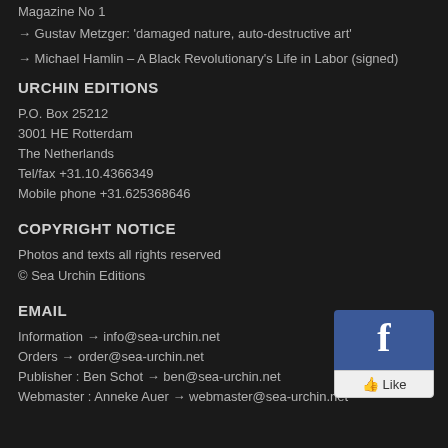Magazine No 1
→ Gustav Metzger: 'damaged nature, auto-destructive art'
→ Michael Hamlin – A Black Revolutionary's Life in Labor (signed)
URCHIN EDITIONS
P.O. Box 25212
3001 HE Rotterdam
The Netherlands
Tel/fax +31.10.4366349
Mobile phone +31.625368646
COPYRIGHT NOTICE
Photos and texts all rights reserved
© Sea Urchin Editions
[Figure (logo): Facebook like button widget with blue 'f' logo and Like button]
EMAIL
Information → info@sea-urchin.net
Orders → order@sea-urchin.net
Publisher : Ben Schot → ben@sea-urchin.net
Webmaster : Anneke Auer → webmaster@sea-urchin.net